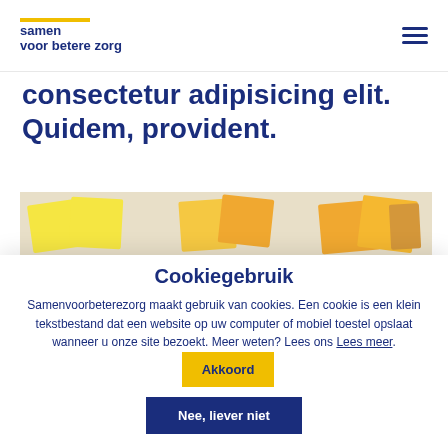samen voor betere zorg
consectetur adipisicing elit. Quidem, provident.
[Figure (photo): Photo strip showing yellow and orange sticky notes on a white surface]
Cookiegebruik
Samenvoorbeterezorg maakt gebruik van cookies. Een cookie is een klein tekstbestand dat een website op uw computer of mobiel toestel opslaat wanneer u onze site bezoekt. Meer weten? Lees ons Lees meer.
Akkoord
Nee, liever niet